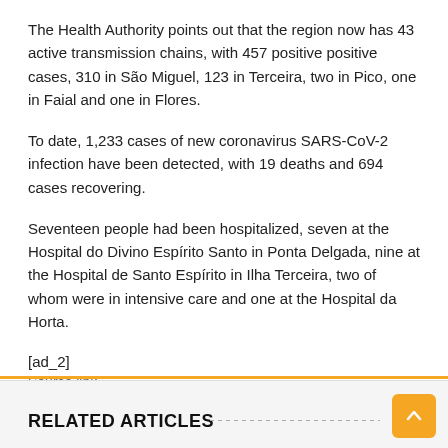The Health Authority points out that the region now has 43 active transmission chains, with 457 positive positive cases, 310 in São Miguel, 123 in Terceira, two in Pico, one in Faial and one in Flores.
To date, 1,233 cases of new coronavirus SARS-CoV-2 infection have been detected, with 19 deaths and 694 cases recovering.
Seventeen people had been hospitalized, seven at the Hospital do Divino Espírito Santo in Ponta Delgada, nine at the Hospital de Santo Espírito in Ilha Terceira, two of whom were in intensive care and one at the Hospital da Horta.
[ad_2]
Source link
RELATED ARTICLES